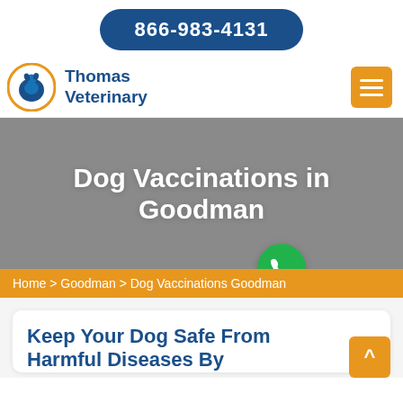866-983-4131
[Figure (logo): Thomas Veterinary logo: orange circle with blue dog silhouette, blue text 'Thomas Veterinary']
[Figure (other): Orange hamburger menu button with three white lines]
Dog Vaccinations in Goodman
[Figure (other): Green circular phone/call button]
Home > Goodman > Dog Vaccinations Goodman
Keep Your Dog Safe From Harmful Diseases By